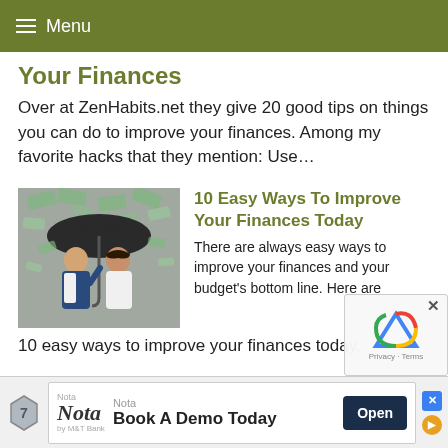≡ Menu
Your Finances
Over at ZenHabits.net they give 20 good tips on things you can do to improve your finances. Among my favorite hacks that they mention: Use…
[Figure (photo): A man and woman standing under an umbrella with money raining down around them.]
10 Easy Ways To Improve Your Finances Today
There are always easy ways to improve your finances and your budget's bottom line. Here are 10 easy ways to improve your finances today.
[Figure (other): Advertisement banner: Nota by M&T Bank — Book A Demo Today — Open button]